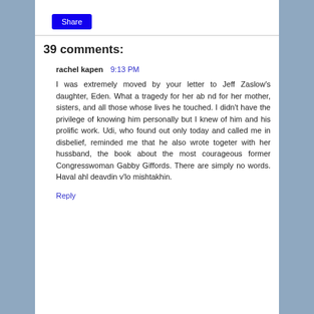[Figure (other): Share button - blue rectangular button with white text 'Share']
39 comments:
rachel kapen  9:13 PM
I was extremely moved by your letter to Jeff Zaslow's daughter, Eden. What a tragedy for her ab nd for her mother, sisters, and all those whose lives he touched. I didn't have the privilege of knowing him personally but I knew of him and his prolific work. Udi, who found out only today and called me in disbelief, reminded me that he also wrote togeter with her hussband, the book about the most courageous former Congresswoman Gabby Giffords. There are simply no words. Haval ahl deavdin v'lo mishtakhin.
Reply